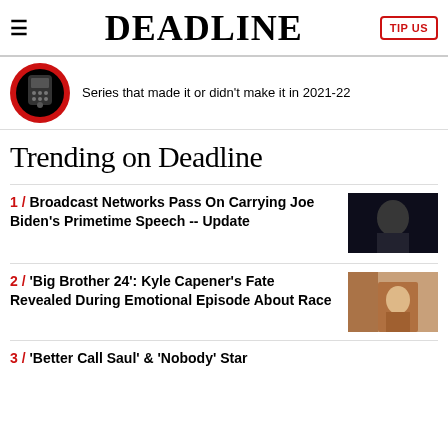DEADLINE
Series that made it or didn't make it in 2021-22
Trending on Deadline
1 / Broadcast Networks Pass On Carrying Joe Biden's Primetime Speech -- Update
2 / 'Big Brother 24': Kyle Capener's Fate Revealed During Emotional Episode About Race
3 / 'Better Call Saul' & 'Nobody' Star